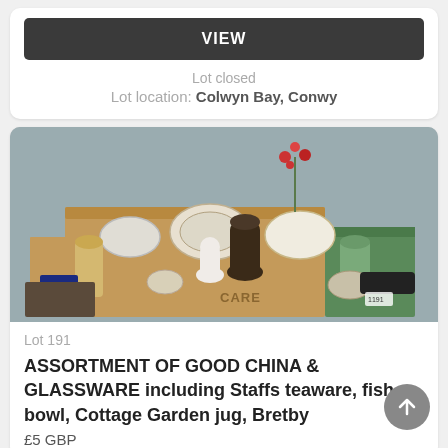VIEW
Lot closed
Lot location: Colwyn Bay, Conwy
[Figure (photo): A cardboard box and surrounding area filled with an assortment of china and glassware items including plates, jugs, mugs, figurines, a dark vase, and various other ceramic pieces.]
Lot 191
ASSORTMENT OF GOOD CHINA & GLASSWARE including Staffs teaware, fish bowl, Cottage Garden jug, Bretby
£5 GBP